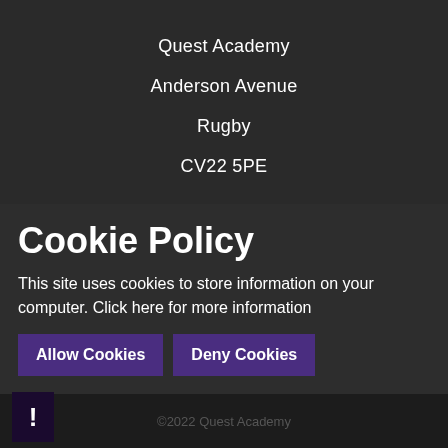Quest Academy
Anderson Avenue
Rugby
CV22 5PE
[Figure (screenshot): Dark website background with decorative geometric shapes including a pentagon/house shape outline and an orange corner bracket accent, plus a purple X icon]
Cookie Policy
This site uses cookies to store information on your computer. Click here for more information
Allow Cookies
Deny Cookies
©2022 Quest Academy